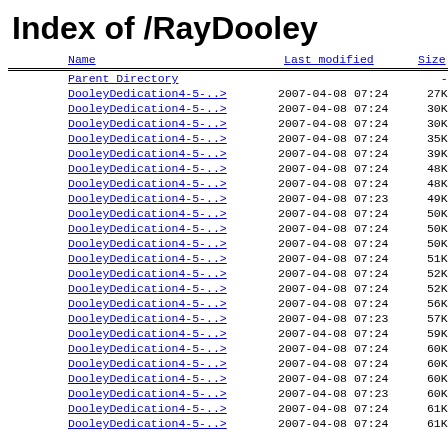Index of /RayDooley
| Name | Last modified | Size | De |
| --- | --- | --- | --- |
| Parent Directory |  | - |  |
| DooleyDedication4-5-..> | 2007-04-08 07:24 | 27K |  |
| DooleyDedication4-5-..> | 2007-04-08 07:24 | 30K |  |
| DooleyDedication4-5-..> | 2007-04-08 07:24 | 30K |  |
| DooleyDedication4-5-..> | 2007-04-08 07:24 | 35K |  |
| DooleyDedication4-5-..> | 2007-04-08 07:24 | 39K |  |
| DooleyDedication4-5-..> | 2007-04-08 07:24 | 48K |  |
| DooleyDedication4-5-..> | 2007-04-08 07:24 | 48K |  |
| DooleyDedication4-5-..> | 2007-04-08 07:23 | 49K |  |
| DooleyDedication4-5-..> | 2007-04-08 07:24 | 50K |  |
| DooleyDedication4-5-..> | 2007-04-08 07:24 | 50K |  |
| DooleyDedication4-5-..> | 2007-04-08 07:24 | 50K |  |
| DooleyDedication4-5-..> | 2007-04-08 07:24 | 51K |  |
| DooleyDedication4-5-..> | 2007-04-08 07:24 | 52K |  |
| DooleyDedication4-5-..> | 2007-04-08 07:24 | 52K |  |
| DooleyDedication4-5-..> | 2007-04-08 07:24 | 56K |  |
| DooleyDedication4-5-..> | 2007-04-08 07:23 | 57K |  |
| DooleyDedication4-5-..> | 2007-04-08 07:24 | 59K |  |
| DooleyDedication4-5-..> | 2007-04-08 07:24 | 60K |  |
| DooleyDedication4-5-..> | 2007-04-08 07:24 | 60K |  |
| DooleyDedication4-5-..> | 2007-04-08 07:24 | 60K |  |
| DooleyDedication4-5-..> | 2007-04-08 07:23 | 60K |  |
| DooleyDedication4-5-..> | 2007-04-08 07:24 | 61K |  |
| DooleyDedication4-5-..> | 2007-04-08 07:24 | 61K |  |